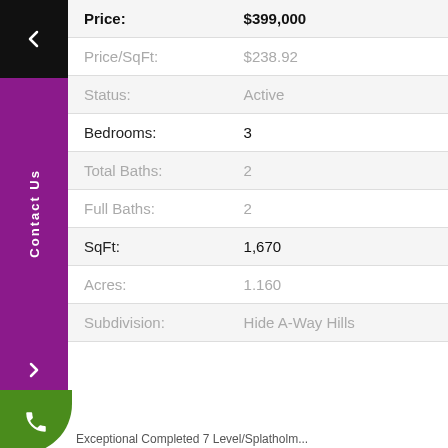| Field | Value |
| --- | --- |
| Price: | $399,000 |
| Price/SqFt: | $238.92 |
| Status: | Active |
| Bedrooms: | 3 |
| Total Baths: | 2 |
| Full Baths: | 2 |
| SqFt: | 1,670 |
| Acres: | 1.160 |
| Subdivision: | Hide A-Way Hills |
Exceptional Completed 7 Level/Splatholm...